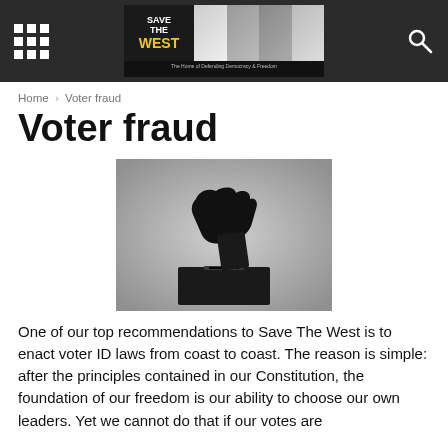Save The West — Navigation header with logo and search
Home › Voter fraud
Voter fraud
[Figure (photo): Black and white silhouette photo of a hand inserting a ballot/card into a ballot box slot]
One of our top recommendations to Save The West is to enact voter ID laws from coast to coast. The reason is simple: after the principles contained in our Constitution, the foundation of our freedom is our ability to choose our own leaders. Yet we cannot do that if our votes are